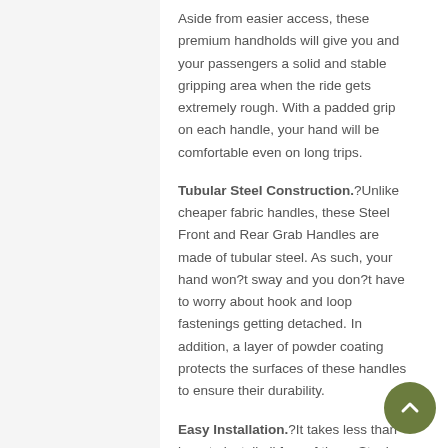Aside from easier access, these premium handholds will give you and your passengers a solid and stable gripping area when the ride gets extremely rough. With a padded grip on each handle, your hand will be comfortable even on long trips.
Tubular Steel Construction.?Unlike cheaper fabric handles, these Steel Front and Rear Grab Handles are made of tubular steel. As such, your hand won?t sway and you don?t have to worry about hook and loop fastenings getting detached. In addition, a layer of powder coating protects the surfaces of these handles to ensure their durability.
Easy Installation.?It takes less than hour to install all four of these Steel Front and Rear Grab Handles. Simply follow the included
[Figure (other): Circular scroll-to-top button with olive/dark green background and upward chevron arrow icon]